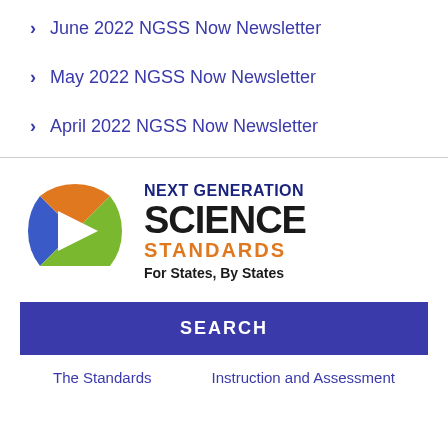June 2022 NGSS Now Newsletter
May 2022 NGSS Now Newsletter
April 2022 NGSS Now Newsletter
[Figure (logo): Next Generation Science Standards logo with colored ribbon/arrow graphic in blue, orange, and green, with text: NEXT GENERATION SCIENCE STANDARDS For States, By States]
SEARCH
The Standards   Instruction and Assessment